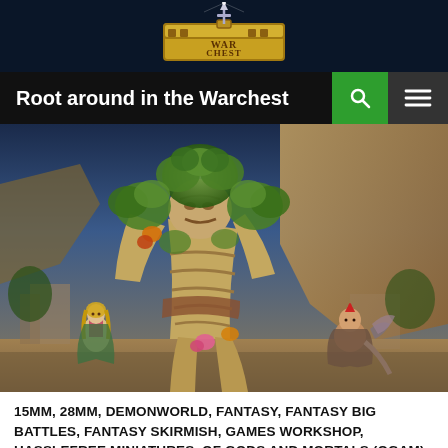Root around in the Warchest
[Figure (photo): A large painted fantasy miniature of a tree-man golem creature covered in foliage and bark, flanked by two smaller human-sized miniatures — a female figure on the left and a male warrior with mohawk on the right, set against a canyon backdrop.]
15MM, 28MM, DEMONWORLD, FANTASY, FANTASY BIG BATTLES, FANTASY SKIRMISH, GAMES WORKSHOP, HASSLEFREE MINIATURES, OF GODS AND MORTALS (OGAM), PAINTING, STONEHAVEN MINIATURES, WARGAMES